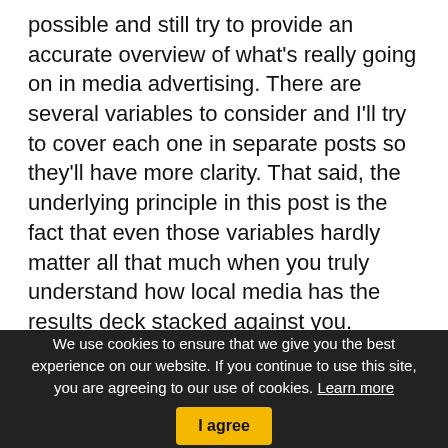possible and still try to provide an accurate overview of what's really going on in media advertising. There are several variables to consider and I'll try to cover each one in separate posts so they'll have more clarity. That said, the underlying principle in this post is the fact that even those variables hardly matter all that much when you truly understand how local media has the results deck stacked against you.
Let me start by saying there's nothing wrong with advertising on local media. As well, the people (local sales reps) are good people and they truly want you to do well. They would never do anything to hurt you or your business.
We use cookies to ensure that we give you the best experience on our website. If you continue to use this site, you are agreeing to our use of cookies. Learn more  I agree